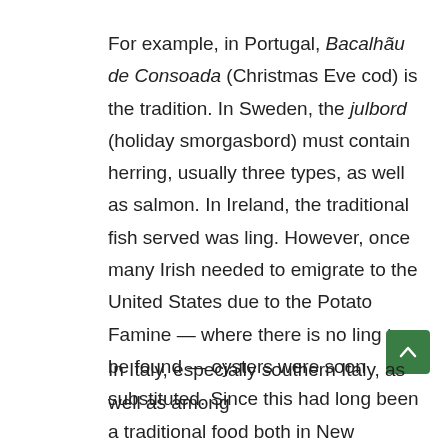For example, in Portugal, Bacalhãu de Consoada (Christmas Eve cod) is the tradition. In Sweden, the julbord (holiday smorgasbord) must contain herring, usually three types, as well as salmon. In Ireland, the traditional fish served was ling. However, once many Irish needed to emigrate to the United States due to the Potato Famine — where there is no ling to be found — oysters were soon substituted. Since this had long been a traditional food both in New England and in southern states along the seaboard, oysters for Christmas Eve quickly became a tradition.
In Italy, especially southern Italy, as well as among